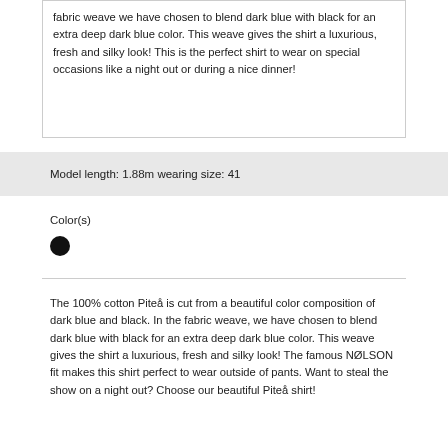fabric weave we have chosen to blend dark blue with black for an extra deep dark blue color. This weave gives the shirt a luxurious, fresh and silky look! This is the perfect shirt to wear on special occasions like a night out or during a nice dinner!
Model length: 1.88m wearing size: 41
Color(s)
[Figure (other): A solid black filled circle representing a color swatch]
The 100% cotton Piteå is cut from a beautiful color composition of dark blue and black. In the fabric weave, we have chosen to blend dark blue with black for an extra deep dark blue color. This weave gives the shirt a luxurious, fresh and silky look! The famous NØLSON fit makes this shirt perfect to wear outside of pants. Want to steal the show on a night out? Choose our beautiful Piteå shirt!